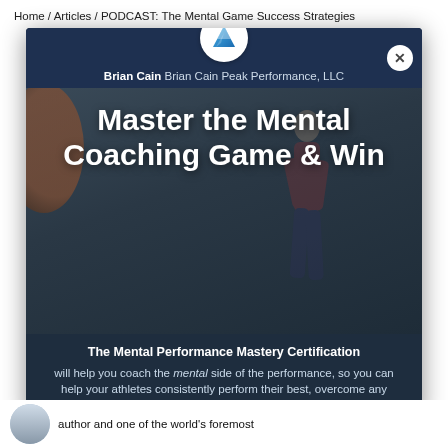Home / Articles / PODCAST: The Mental Game Success Strategies
[Figure (screenshot): Modal popup with Brian Cain Peak Performance logo (blue mountain icon on white circle), close button (X), author name 'Brian Cain Brian Cain Peak Performance, LLC' in header. Hero image shows basketball player silhouette with large white bold text 'Master the Mental Coaching Game & Win'. Below: text block with 'The Mental Performance Mastery Certification will help you coach the mental side of the performance, so you can help your athletes consistently perform their best, overcome any obstacle, and stay focused under pressure.']
author and one of the world's foremost